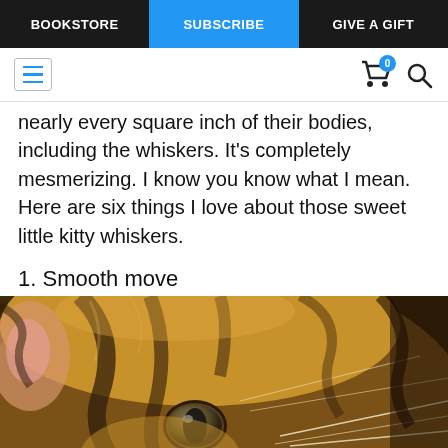BOOKSTORE | SUBSCRIBE | GIVE A GIFT
nearly every square inch of their bodies, including the whiskers. It's completely mesmerizing. I know you know what I mean. Here are six things I love about those sweet little kitty whiskers.
1. Smooth move
[Figure (photo): Close-up photo of a tabby cat's face showing its eye and prominent whiskers]